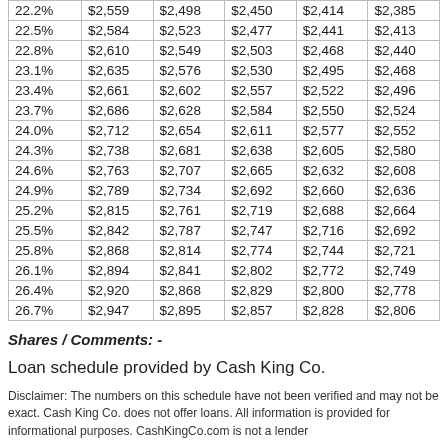| 22.2% | $2,559 | $2,498 | $2,450 | $2,414 | $2,385 |
| 22.5% | $2,584 | $2,523 | $2,477 | $2,441 | $2,413 |
| 22.8% | $2,610 | $2,549 | $2,503 | $2,468 | $2,440 |
| 23.1% | $2,635 | $2,576 | $2,530 | $2,495 | $2,468 |
| 23.4% | $2,661 | $2,602 | $2,557 | $2,522 | $2,496 |
| 23.7% | $2,686 | $2,628 | $2,584 | $2,550 | $2,524 |
| 24.0% | $2,712 | $2,654 | $2,611 | $2,577 | $2,552 |
| 24.3% | $2,738 | $2,681 | $2,638 | $2,605 | $2,580 |
| 24.6% | $2,763 | $2,707 | $2,665 | $2,632 | $2,608 |
| 24.9% | $2,789 | $2,734 | $2,692 | $2,660 | $2,636 |
| 25.2% | $2,815 | $2,761 | $2,719 | $2,688 | $2,664 |
| 25.5% | $2,842 | $2,787 | $2,747 | $2,716 | $2,692 |
| 25.8% | $2,868 | $2,814 | $2,774 | $2,744 | $2,721 |
| 26.1% | $2,894 | $2,841 | $2,802 | $2,772 | $2,749 |
| 26.4% | $2,920 | $2,868 | $2,829 | $2,800 | $2,778 |
| 26.7% | $2,947 | $2,895 | $2,857 | $2,828 | $2,806 |
Shares / Comments: -
Loan schedule provided by Cash King Co.
Disclaimer: The numbers on this schedule have not been verified and may not be exact. Cash King Co. does not offer loans. All information is provided for informational purposes. CashKingCo.com is not a lender but may receive compensation from lenders who offer loans to...